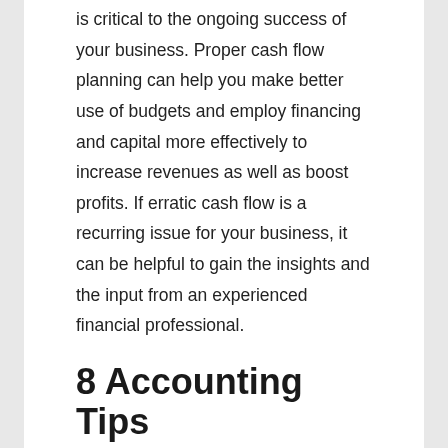is critical to the ongoing success of your business. Proper cash flow planning can help you make better use of budgets and employ financing and capital more effectively to increase revenues as well as boost profits. If erratic cash flow is a recurring issue for your business, it can be helpful to gain the insights and the input from an experienced financial professional.
Filed Under: Best Business Practices
8 Accounting Tips